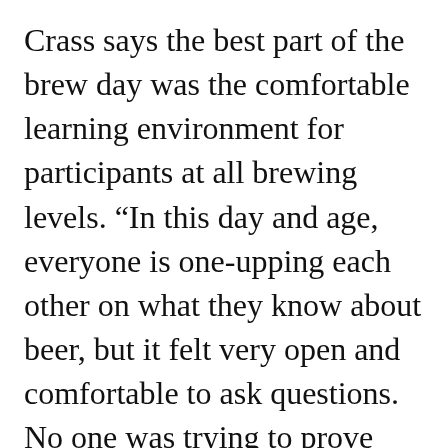Crass says the best part of the brew day was the comfortable learning environment for participants at all brewing levels. “In this day and age, everyone is one-upping each other on what they know about beer, but it felt very open and comfortable to ask questions. No one was trying to prove anything and everyone had a great time.”